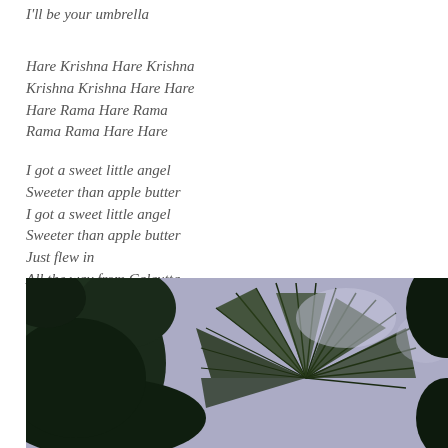I'll be your umbrella
Hare Krishna Hare Krishna
Krishna Krishna Hare Hare
Hare Rama Hare Rama
Rama Rama Hare Hare
I got a sweet little angel
Sweeter than apple butter
I got a sweet little angel
Sweeter than apple butter
Just flew in
All the way from Calcutta
[Figure (photo): Photograph of tropical palm fan leaves and foliage with sunlight filtering through, dark green tones with light background visible through the leaves.]